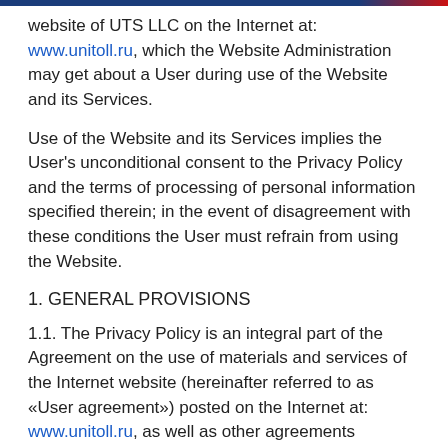website of UTS LLC on the Internet at: www.unitoll.ru, which the Website Administration may get about a User during use of the Website and its Services.
Use of the Website and its Services implies the User's unconditional consent to the Privacy Policy and the terms of processing of personal information specified therein; in the event of disagreement with these conditions the User must refrain from using the Website.
1. GENERAL PROVISIONS
1.1. The Privacy Policy is an integral part of the Agreement on the use of materials and services of the Internet website (hereinafter referred to as «User agreement») posted on the Internet at: www.unitoll.ru, as well as other agreements concluded with the User, when it is directly provided for by their terms.